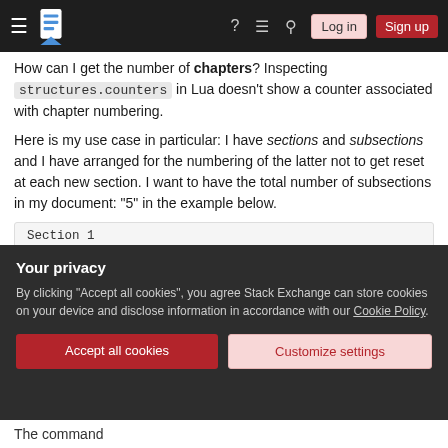Stack Exchange navigation bar with hamburger menu, logo, help, chat, search icons, Log in and Sign up buttons
How can I get the number of chapters? Inspecting structures.counters in Lua doesn't show a counter associated with chapter numbering.
Here is my use case in particular: I have sections and subsections and I have arranged for the numbering of the latter not to get reset at each new section. I want to have the total number of subsections in my document: "5" in the example below.
Section 1
[Figure (screenshot): Privacy cookie consent banner with dark background. Title: Your privacy. Body text: By clicking "Accept all cookies", you agree Stack Exchange can store cookies on your device and disclose information in accordance with our Cookie Policy. Two buttons: Accept all cookies (red) and Customize settings (pink).]
The command